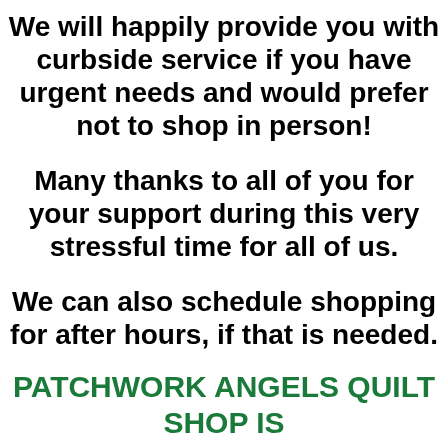We will happily provide you with curbside service if you have urgent needs and would prefer not to shop in person!
Many thanks to all of you for your support during this very stressful time for all of us.
We can also schedule shopping for after hours, if that is needed.
PATCHWORK ANGELS QUILT SHOP IS